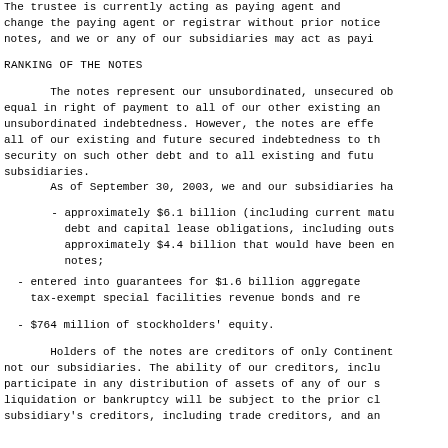The trustee is currently acting as paying agent and change the paying agent or registrar without prior notice notes, and we or any of our subsidiaries may act as payi
RANKING OF THE NOTES
The notes represent our unsubordinated, unsecured ob equal in right of payment to all of our other existing an unsubordinated indebtedness. However, the notes are effe all of our existing and future secured indebtedness to th security on such other debt and to all existing and futu subsidiaries.
As of September 30, 2003, we and our subsidiaries ha
- approximately $6.1 billion (including current matu debt and capital lease obligations, including outs approximately $4.4 billion that would have been en notes;
- entered into guarantees for $1.6 billion aggregate tax-exempt special facilities revenue bonds and re
- $764 million of stockholders' equity.
Holders of the notes are creditors of only Continent not our subsidiaries. The ability of our creditors, inclu participate in any distribution of assets of any of our s liquidation or bankruptcy will be subject to the prior cl subsidiary's creditors, including trade creditors, and an